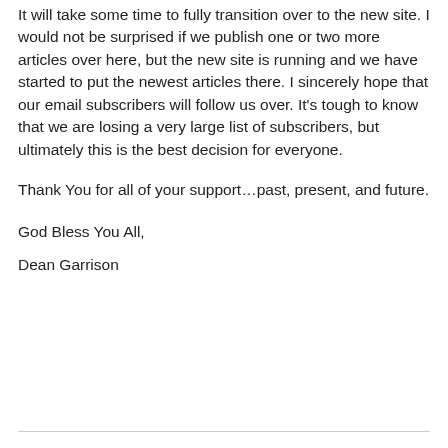It will take some time to fully transition over to the new site. I would not be surprised if we publish one or two more articles over here, but the new site is running and we have started to put the newest articles there. I sincerely hope that our email subscribers will follow us over. It's tough to know that we are losing a very large list of subscribers, but ultimately this is the best decision for everyone.
Thank You for all of your support…past, present, and future.
God Bless You All,
Dean Garrison